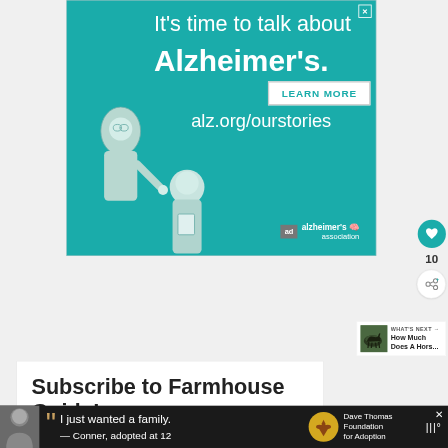[Figure (illustration): Teal/cyan advertisement for Alzheimer's Association. Top text reads 'It's time to talk about Alzheimer's.' with a 'LEARN MORE' button and URL 'alz.org/ourstories'. Bottom left shows illustrated figures of an elderly man and younger person. Bottom right shows 'ad' badge and Alzheimer's Association logo.]
[Figure (infographic): Heart/like button (teal circle with heart icon) on the right side, with count '10' below it, and a share button (circle with share icon) below that.]
WHAT'S NEXT →
How Much Does A Hors...
Subscribe to Farmhouse Guide!
[Figure (illustration): Dark bottom advertisement bar featuring a young man, quote marks, text 'I just wanted a family. — Conner, adopted at 12', Dave Thomas Foundation for Adoption logo, and a close button.]